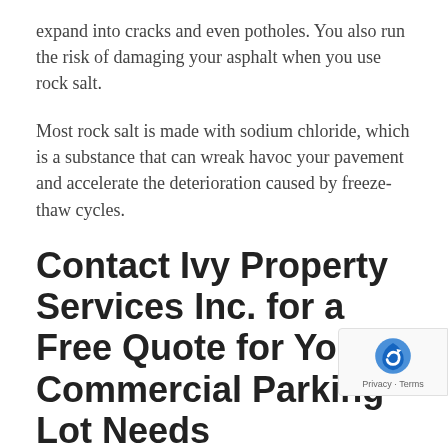expand into cracks and even potholes. You also run the risk of damaging your asphalt when you use rock salt.
Most rock salt is made with sodium chloride, which is a substance that can wreak havoc your pavement and accelerate the deterioration caused by freeze-thaw cycles.
Contact Ivy Property Services Inc. for a Free Quote for Your Commercial Parking Lot Needs
If you're looking for weather-related commercial asphalt repairs, paving, or snow removal services in Toronto, the professionals at Ivy Property Services Inc.